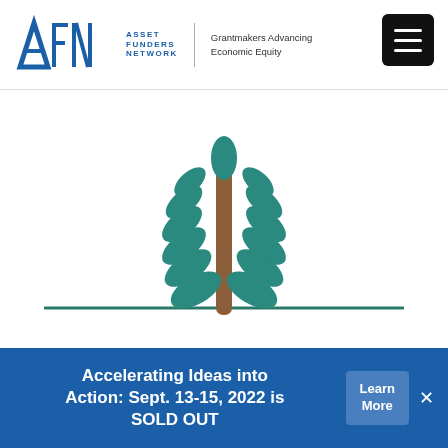AFN Asset Funders Network | Grantmakers Advancing Economic Equity
[Figure (illustration): Stylized tree illustration with teal/dark-cyan leaves arranged symmetrically along a brown trunk, above a teal horizontal ground line, centered on white background]
Accelerating Ideas into Action: Sept. 13-15, 2022 is SOLD OUT